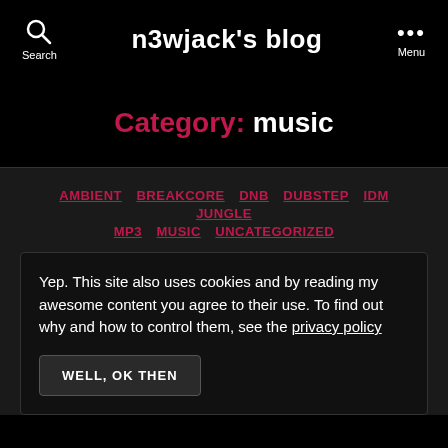n3wjack's blog
Category: music
AMBIENT BREAKCORE DNB DUBSTEP IDM JUNGLE MP3 MUSIC UNCATEGORIZED
Yep. This site also uses cookies and by reading my awesome content you agree to their use. To find out why and how to control them, see the privacy policy
WELL, OK THEN